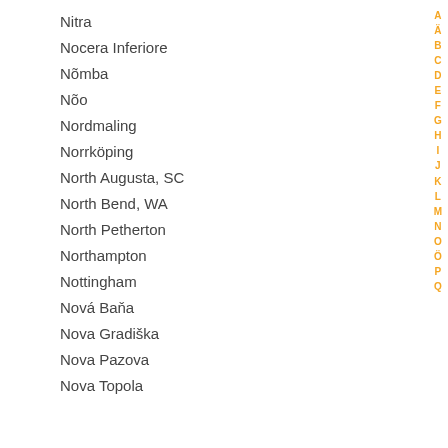Nitra
Nocera Inferiore
Nõmba
Nõo
Nordmaling
Norrköping
North Augusta, SC
North Bend, WA
North Petherton
Northampton
Nottingham
Nová Baňa
Nova Gradiška
Nova Pazova
Nova Topola